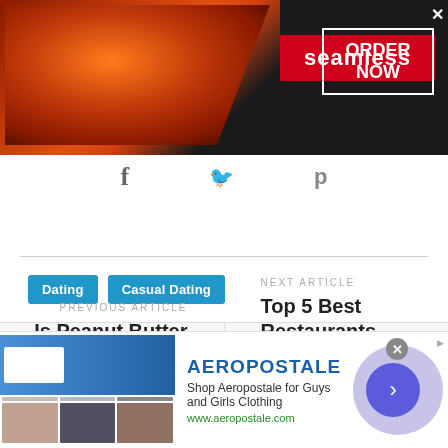[Figure (other): Seamless food delivery advertisement banner with pizza image on left, red Seamless logo in center, and ORDER NOW button on right with X close button]
[Figure (other): Social media share icons row: Facebook, Twitter, Pinterest]
Dating
Casual Dating
PREVIOUS ARTICLE
Is Peanut Butter Healthy?
NEXT ARTICLE
Top 5 Best Restaurants in Hammonton NJ
[Figure (other): Aeropostale advertisement with clothing images, brand name, description 'Shop Aeropostale for Guys and Girls Clothing', URL www.aeropostale.com, and navigation arrow button]